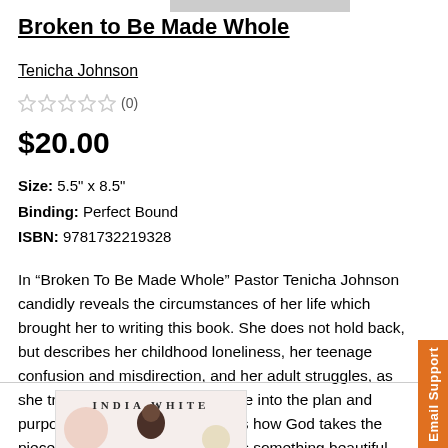Broken to Be Made Whole
Tenicha Johnson
☆☆☆☆☆ (0)
$20.00
Size: 5.5" x 8.5"
Binding: Perfect Bound
ISBN: 9781732219328
In “Broken To Be Made Whole” Pastor Tenicha Johnson candidly reveals the circumstances of her life which brought her to writing this book. She does not hold back, but describes her childhood loneliness, her teenage confusion and misdirection, and her adult struggles, as she transitions from her former life into the plan and purpose of God. This book shows how God takes the pieces of a broken life and makes something beautiful out of it.
[Figure (photo): Book cover showing 'INDIA WHITE' text with a person and decorative circles]